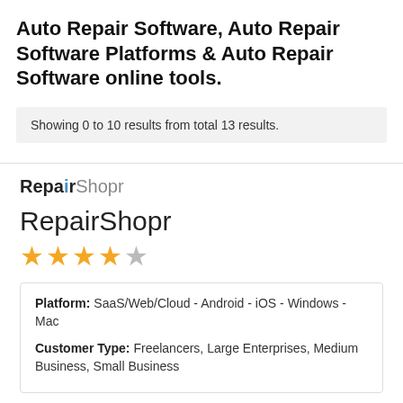Auto Repair Software, Auto Repair Software Platforms & Auto Repair Software online tools.
Showing 0 to 10 results from total 13 results.
[Figure (logo): RepairShopr logo with bold 'Repair' in dark and 'Shopr' in gray, with a blue accent on the 'i']
RepairShopr
[Figure (other): 4 full gold stars and 1 gray star rating]
Platform: SaaS/Web/Cloud - Android - iOS - Windows - Mac
Customer Type: Freelancers, Large Enterprises, Medium Business, Small Business